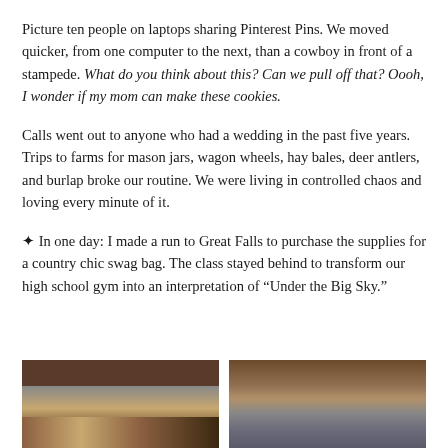Picture ten people on laptops sharing Pinterest Pins. We moved quicker, from one computer to the next, than a cowboy in front of a stampede. What do you think about this? Can we pull off that? Oooh, I wonder if my mom can make these cookies.
Calls went out to anyone who had a wedding in the past five years. Trips to farms for mason jars, wagon wheels, hay bales, deer antlers, and burlap broke our routine. We were living in controlled chaos and loving every minute of it.
✦ In one day: I made a run to Great Falls to purchase the supplies for a country chic swag bag. The class stayed behind to transform our high school gym into an interpretation of “Under the Big Sky.”
[Figure (photo): Interior photo of a high school gymnasium with industrial ceiling and decorations, left image]
[Figure (photo): Interior photo of a high school gymnasium with industrial ceiling and decorations, right image]